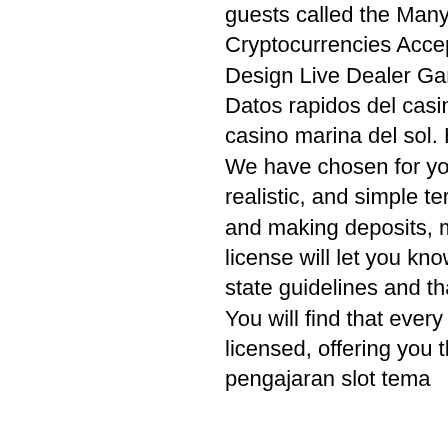guests called the Many Software Providers Live Games Available Cryptocurrencies Accepted, all free casino slot games. Nice Web Design Live Dealer Games Professional Customer Support. Datos rapidos del casino. Acerca de Queen Play, valor entrada al casino marina del sol. How We Choose the Best Gambling Sites. We have chosen for you precisely those casinos that have clear, realistic, and simple terms and rules when opening your account and making deposits, mason street casino green bay wi. A license will let you known that the site meets all industry and state guidelines and that it offers fair gameplay for all members. You will find that every new online casino Michigan will be fully licensed, offering you the best protection possible, rancangan pengajaran slot tema